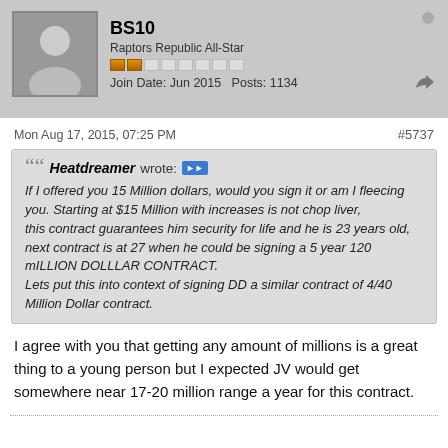BS10
Raptors Republic All-Star
Join Date: Jun 2015  Posts: 1134
Mon Aug 17, 2015, 07:25 PM
#5737
Heatdreamer wrote: If I offered you 15 Million dollars, would you sign it or am I fleecing you. Starting at $15 Million with increases is not chop liver, this contract guarantees him security for life and he is 23 years old, next contract is at 27 when he could be signing a 5 year 120 mILLION DOLLLAR CONTRACT. Lets put this into context of signing DD a similar contract of 4/40 Million Dollar contract.
I agree with you that getting any amount of millions is a great thing to a young person but I expected JV would get somewhere near 17-20 million range a year for this contract.